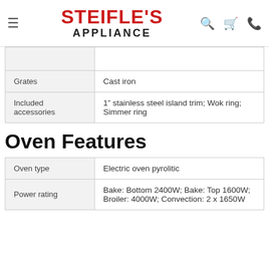STEIFLE'S APPLIANCE
| Grates | Cast iron |
| Included accessories | 1" stainless steel island trim; Wok ring; Simmer ring |
Oven Features
| Oven type | Electric oven pyrolitic |
| Power rating | Bake: Bottom 2400W; Bake: Top 1600W; Broiler: 4000W; Convection: 2 x 1650W |